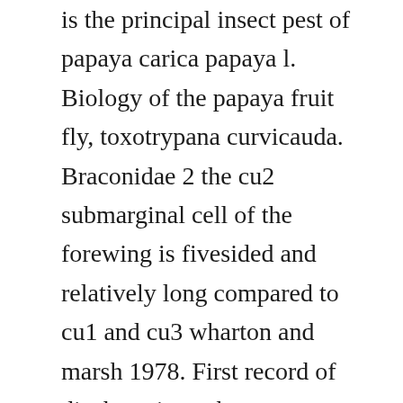is the principal insect pest of papaya carica papaya l. Biology of the papaya fruit fly, toxotrypana curvicauda. Braconidae 2 the cu2 submarginal cell of the forewing is fivesided and relatively long compared to cu1 and cu3 wharton and marsh 1978. First record of diachasmimorpha longicaudata ashmead hymenoptera. Antennal sensilla of toxotrypana curvicauda diptera. Return to article details improved pheromonebased trapping systems to monitor toxotrypana curvicauda diptera. A maleproduced sex pheromone of the papaya fruit fly,toxotrypana